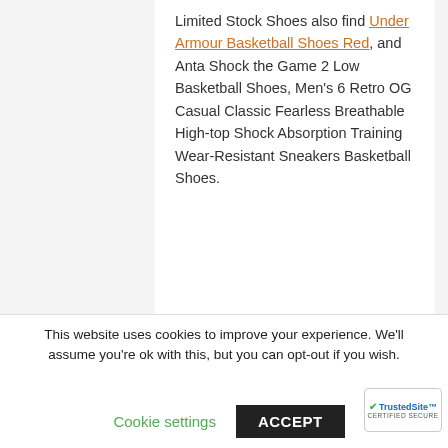Limited Stock Shoes also find Under Armour Basketball Shoes Red, and Anta Shock the Game 2 Low Basketball Shoes, Men's 6 Retro OG Casual Classic Fearless Breathable High-top Shock Absorption Training Wear-Resistant Sneakers Basketball Shoes.
USD$130.00
[Figure (other): Orange 'Buy Now' button with gradient background]
This website uses cookies to improve your experience. We'll assume you're ok with this, but you can opt-out if you wish.
Cookie settings
ACCEPT
[Figure (logo): TrustedSite CERTIFIED SECURE badge]